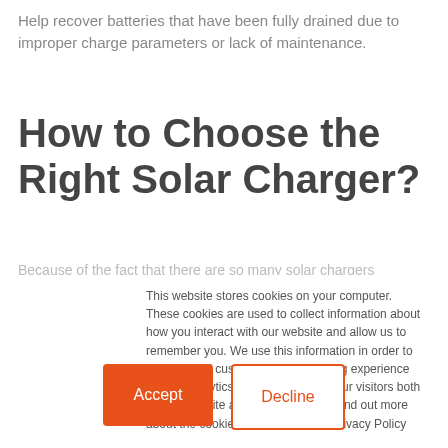Help recover batteries that have been fully drained due to improper charge parameters or lack of maintenance.
How to Choose the Right Solar Charger?
Because of the fact that there are so many solar chargers
This website stores cookies on your computer. These cookies are used to collect information about how you interact with our website and allow us to remember you. We use this information in order to improve and customize your browsing experience and for analytics and metrics about our visitors both on this website and other media. To find out more about the cookies we use, see our Privacy Policy
If you decline, your information won't be tracked when you visit this website. A single cookie will be used in your browser to remember your preference not to be tracked.
Accept
Decline